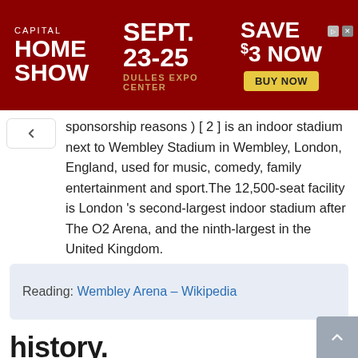[Figure (screenshot): Advertisement banner for Capital Home Show, Sept. 23-25, Dulles Expo Center, Save $3 Now, Buy Now button]
sponsorship reasons ) [ 2 ] is an indoor stadium next to Wembley Stadium in Wembley, London, England, used for music, comedy, family entertainment and sport.The 12,500-seat facility is London 's second-largest indoor stadium after The O2 Arena, and the ninth-largest in the United Kingdom.
Reading: Wembley Arena – Wikipedia
history.
The Empire Pool ( besides known as Empire